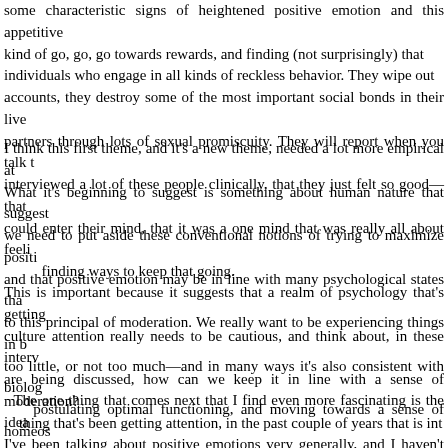some characteristic signs of heightened positive emotion and this appetitive kind of go, go, go towards rewards, and finding (not surprisingly) that individuals who engage in all kinds of reckless behavior. They wipe out accounts, they destroy some of the most important social bonds in their lives, partners through lots of sexual promiscuity. They will report when you talk to, interviewed a lot of these people clinically, that they just felt so good—that could enter their mind, that it was a one mind that was really all about feeling finding ways to keep that going.
I think this first theme, and it's a new theme, needed a lot more empirical at. What it's beginning to suggest is something about human nature that suggests we need to put aside these conventional notions of trying to maximize positive and that positive emotion may be in line with many psychological states that to this principal of moderation. We really want to be experiencing things in balance too little, or not too much—and in many ways it's also consistent with biology postulating optimal functioning, and moving towards a sense of homeostasis equilibrium.
This is important because it suggests that a realm of psychology that's getting culture attention really needs to be cautious, and think about, in these interventions are being discussed, how can we keep it in line with a sense of moderation? thing that's been getting attention, in the past couple of years that is interesting.
The one thing that comes next that I find even more fascinating is the idea. I've been talking about positive emotions very generally, and I haven't been